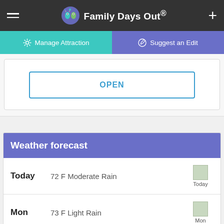Family Days Out®
Manage Attraction
Suggest an Edit
OPEN
Weather forecast
| Day | Description | Icon |
| --- | --- | --- |
| Today | 72 F Moderate Rain | Today |
| Mon | 73 F Light Rain | Mon |
|  |  |  |